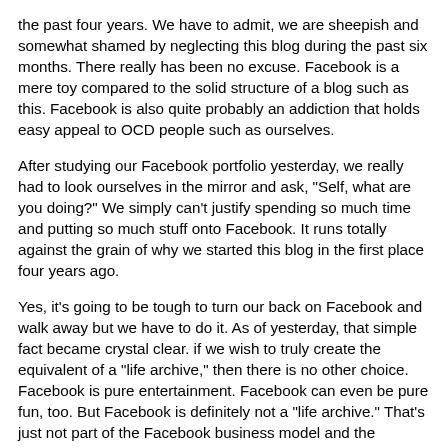the past four years.  We have to admit, we are sheepish and somewhat shamed by neglecting this blog during the past six months.  There really has been no excuse.  Facebook is a mere toy compared to the solid structure of a blog such as this.  Facebook is also quite probably an addiction that holds easy appeal to OCD people such as ourselves.
After studying our Facebook portfolio yesterday, we really had to look ourselves in the mirror and ask, "Self, what are you doing?"  We simply can't justify spending so much time and putting so much stuff onto Facebook.  It runs totally against the grain of why we started this blog in the first place four years ago.
Yes, it's going to be tough to turn our back on Facebook and walk away but we have to do it.  As of yesterday, that simple fact became crystal clear.  if we wish to truly create the equivalent of a "life archive," then there is no other choice.  Facebook is pure entertainment.  Facebook can even be pure fun, too.  But Facebook is definitely not a "life archive."  That's just not part of the Facebook business model and the billionaires who run the asylum have no intentions of creating